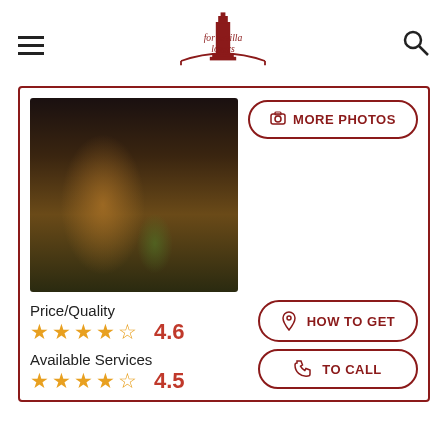For Sevilla Lovers
[Figure (photo): Entrance hallway of a venue with ornate dark wooden door frame, warm yellow walls, arched interior, chandelier, and plants]
MORE PHOTOS
Price/Quality
4.6
Available Services
4.5
HOW TO GET
TO CALL